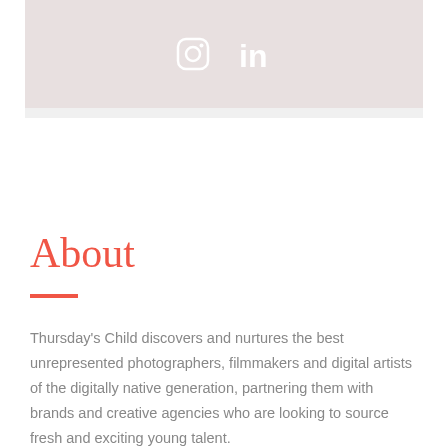[Figure (other): Social media icons: Instagram and LinkedIn, displayed in white on a pinkish-grey background]
About
Thursday's Child discovers and nurtures the best unrepresented photographers, filmmakers and digital artists of the digitally native generation, partnering them with brands and creative agencies who are looking to source fresh and exciting young talent.